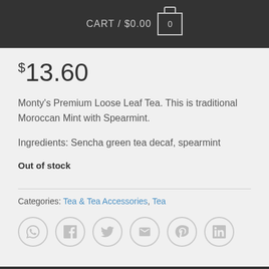CART / $0.00  0
$13.60
Monty's Premium Loose Leaf Tea. This is traditional Moroccan Mint with Spearmint.
Ingredients: Sencha green tea decaf, spearmint
Out of stock
Categories: Tea & Tea Accessories, Tea
[Figure (infographic): Row of six social sharing icons in circles: WhatsApp, Facebook, Twitter, Email, Pinterest, LinkedIn]